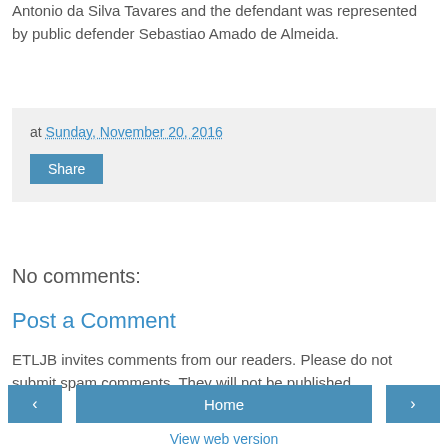Antonio da Silva Tavares and the defendant was represented by public defender Sebastiao Amado de Almeida.
at Sunday, November 20, 2016
Share
No comments:
Post a Comment
ETLJB invites comments from our readers. Please do not submit spam comments. They will not be published.
‹
Home
›
View web version
Powered by Blogger.